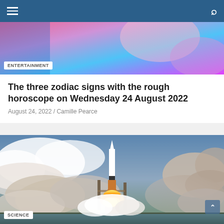Navigation bar with hamburger menu and search icon
[Figure (photo): Partial colorful image with ENTERTAINMENT badge label at bottom left]
The three zodiac signs with the rough horoscope on Wednesday 24 August 2022
August 24, 2022 / Camille Pearce
[Figure (photo): Rocket launching from launch pad with large flames and smoke clouds, with SCIENCE badge at bottom left and a scroll-up arrow button at bottom right]